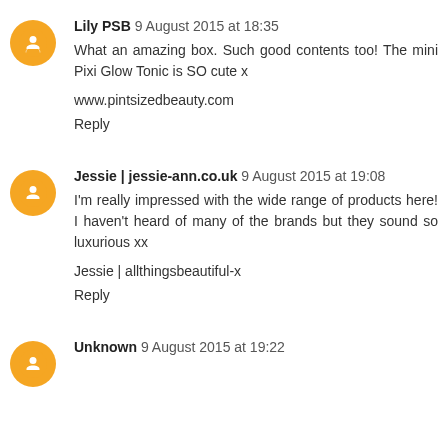Lily PSB 9 August 2015 at 18:35
What an amazing box. Such good contents too! The mini Pixi Glow Tonic is SO cute x

www.pintsizedbeauty.com

Reply
Jessie | jessie-ann.co.uk 9 August 2015 at 19:08
I'm really impressed with the wide range of products here! I haven't heard of many of the brands but they sound so luxurious xx

Jessie | allthingsbeautiful-x

Reply
Unknown 9 August 2015 at 19:22